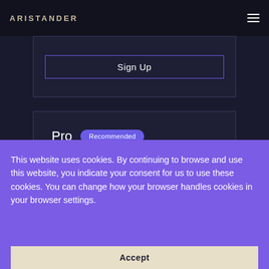ARISTANDER
Sign Up
Pro   Recommended
€
This website uses cookies. By continuing to browse and use this website, you indicate your consent for us to use these cookies. You can change how your browser handles cookies in your browser settings.
Accept